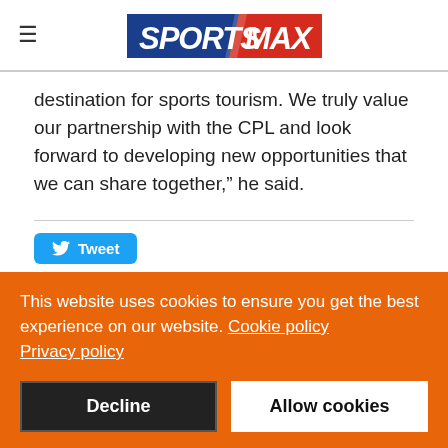[Figure (logo): SportsMax logo with blue and red text on white background]
destination for sports tourism. We truly value our partnership with the CPL and look forward to developing new opportunities that we can share together,” he said.
Tweet
This website uses cookies to ensure you get the best experience on our website. Cookie policy Privacy policy
Decline
Allow cookies